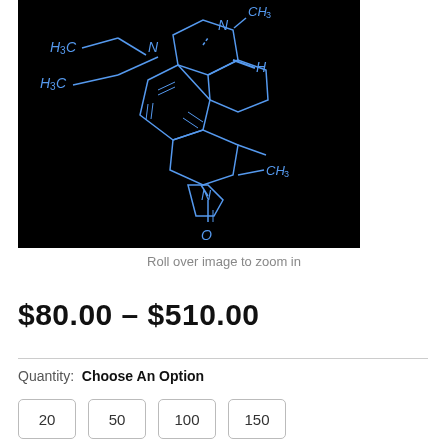[Figure (illustration): Chemical structure diagram of a complex alkaloid molecule drawn in blue lines on a black background, showing multiple ring systems with labeled groups including H3C, N, H, CH3, and O substituents.]
Roll over image to zoom in
$80.00 – $510.00
Quantity: Choose An Option
20  50  100  150